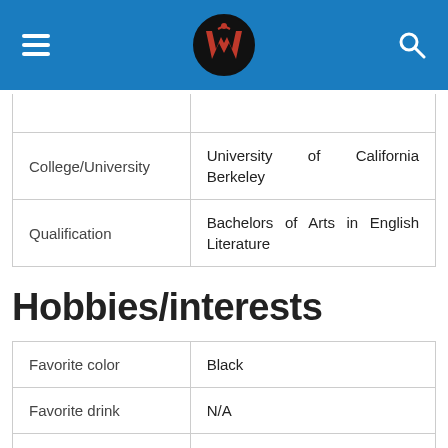Navigation bar with logo
| Field | Value |
| --- | --- |
| College/University | University of California Berkeley |
| Qualification | Bachelors of Arts in English Literature |
Hobbies/interests
| Field | Value |
| --- | --- |
| Favorite color | Black |
| Favorite drink | N/A |
| Favorite sport | Football, Baseball |
| Favorite team | N/A |
| Hobbies | Travelling and Writing |